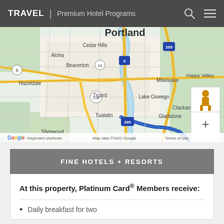TRAVEL | Premium Hotel Programs
[Figure (map): Google Maps view of Portland, Oregon area showing surrounding cities: Cedar Hills, Aloha, Beaverton, Hazeldale, Milwaukie, Happy Valley, Tigard, Lake Oswego, Clackamas, Tualatin, Gladstone, Sherwood. Roads and highways including I-5, I-205, US-210 visible. Map controls (zoom +/-) and street view pegman shown. Footer: Google, Keyboard shortcuts, Map data ©2022 Google, Terms of Use.]
FINE HOTELS + RESORTS
At this property, Platinum Card® Members receive:
Daily breakfast for two